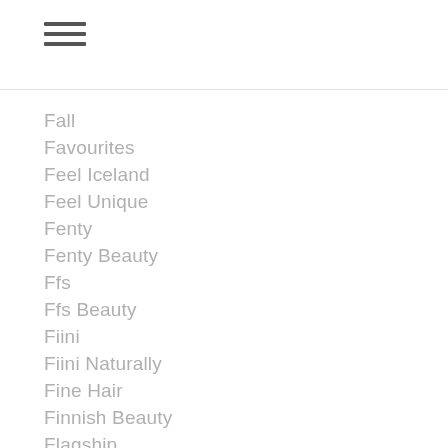Fall
Favourites
Feel Iceland
Feel Unique
Fenty
Fenty Beauty
Ffs
Ffs Beauty
Fiini
Fiini Naturally
Fine Hair
Finnish Beauty
Flagship
Foreo
Foreo Ufo
Forever Living
Founders Formula
Fragrance